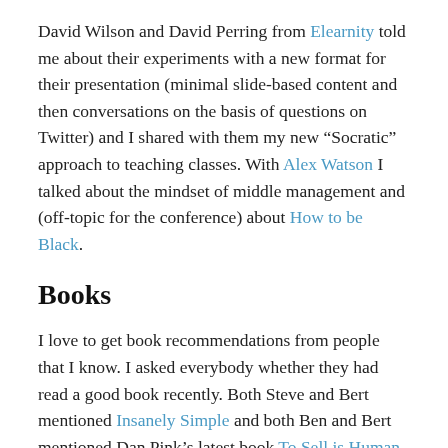David Wilson and David Perring from Elearnity told me about their experiments with a new format for their presentation (minimal slide-based content and then conversations on the basis of questions on Twitter) and I shared with them my new “Socratic” approach to teaching classes. With Alex Watson I talked about the mindset of middle management and (off-topic for the conference) about How to be Black.
Books
I love to get book recommendations from people that I know. I asked everybody whether they had read a good book recently. Both Steve and Bert mentioned Insanely Simple and both Ben and Bert mentioned Dan Pink’s latest book To Sell is Human. Steve made The Lean Startup required reading for the staff in his company (this is a reverse recommendation; I remember telling